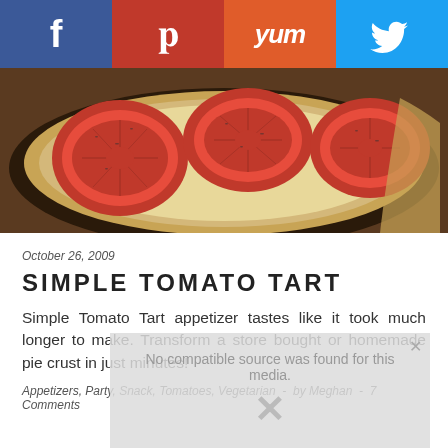[Figure (infographic): Social media sharing bar with four buttons: Facebook (blue), Pinterest (red), Yummly (orange-red), Twitter (light blue)]
[Figure (photo): Close-up photograph of a tomato tart with sliced tomatoes on a pastry crust, sprinkled with herbs, on a dark plate]
October 26, 2009
SIMPLE TOMATO TART
Simple Tomato Tart appetizer tastes like it took much longer to make. Transform a store bought or homemade pie crust in just minutes!
Appetizers, Party, Snack, Tomatoes, Vegetarian  -  by Meghan  -  7 Comments
[Figure (screenshot): Video player overlay with message: No compatible source was found for this media. Shows a close X button and an X icon.]